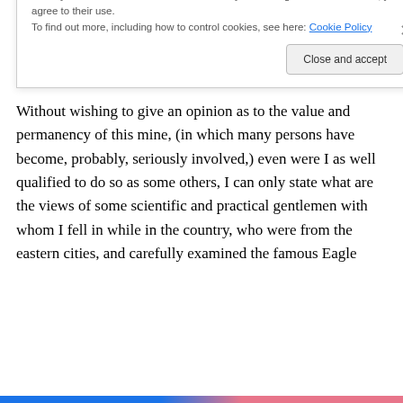which the other consents to take. This transaction, under some mysterious arrangement, appears in the newspapers, and is widely copied.
Without wishing to give an opinion as to the value and permanency of this mine, (in which many persons have become, probably, seriously involved,) even were I as well qualified to do so as some others, I can only state what are the views of some scientific and practical gentlemen with whom I fell in while in the country, who were from the eastern cities, and carefully examined the famous Eagle
Privacy & Cookies: This site uses cookies. By continuing to use this website, you agree to their use.
To find out more, including how to control cookies, see here: Cookie Policy
Close and accept